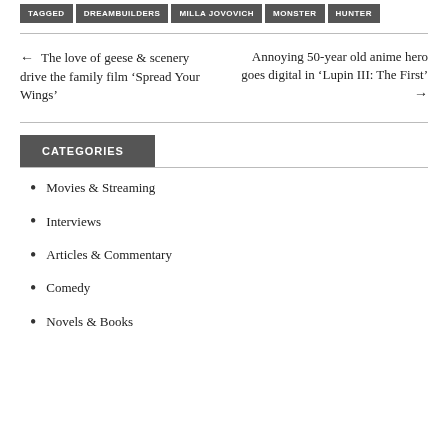TAGGED  DREAMBUILDERS  MILLA JOVOVICH  MONSTER HUNTER
← The love of geese & scenery drive the family film 'Spread Your Wings'
Annoying 50-year old anime hero goes digital in 'Lupin III: The First' →
CATEGORIES
Movies & Streaming
Interviews
Articles & Commentary
Comedy
Novels & Books